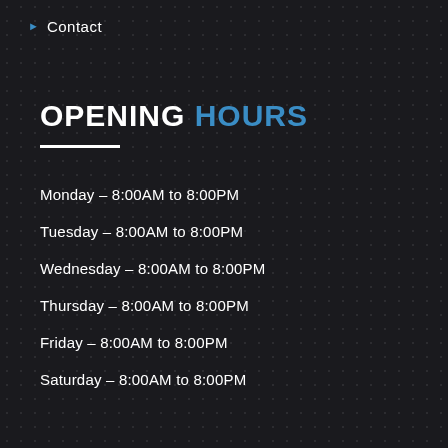Contact
OPENING HOURS
Monday – 8:00AM to 8:00PM
Tuesday – 8:00AM to 8:00PM
Wednesday – 8:00AM to 8:00PM
Thursday – 8:00AM to 8:00PM
Friday – 8:00AM to 8:00PM
Saturday – 8:00AM to 8:00PM